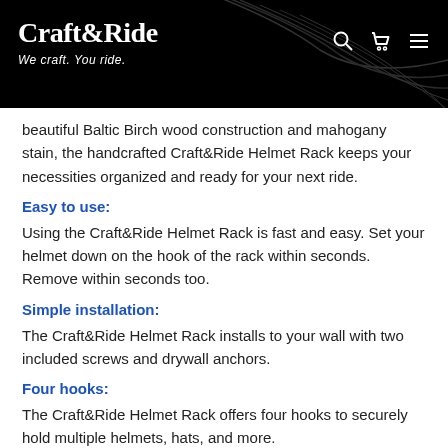Craft&Ride — We craft. You ride.
beautiful Baltic Birch wood construction and mahogany stain, the handcrafted Craft&Ride Helmet Rack keeps your necessities organized and ready for your next ride.
Easy to use:
Using the Craft&Ride Helmet Rack is fast and easy. Set your helmet down on the hook of the rack within seconds. Remove within seconds too.
Simple installation:
The Craft&Ride Helmet Rack installs to your wall with two included screws and drywall anchors.
Four hooks:
The Craft&Ride Helmet Rack offers four hooks to securely hold multiple helmets, hats, and more.
Dimensions: